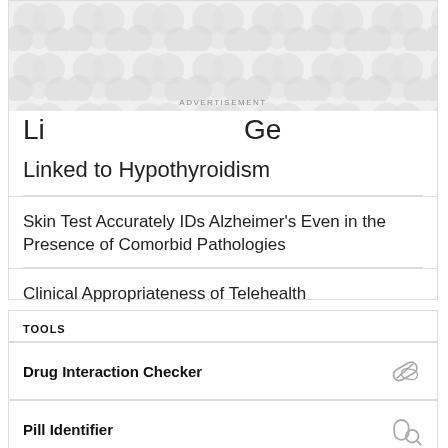[Figure (other): Advertisement banner with decorative circular cell-like pattern in gray on white background]
Linked to Hypothyroidism
Skin Test Accurately IDs Alzheimer's Even in the Presence of Comorbid Pathologies
Clinical Appropriateness of Telehealth
TOOLS
Drug Interaction Checker
Pill Identifier
Calculators